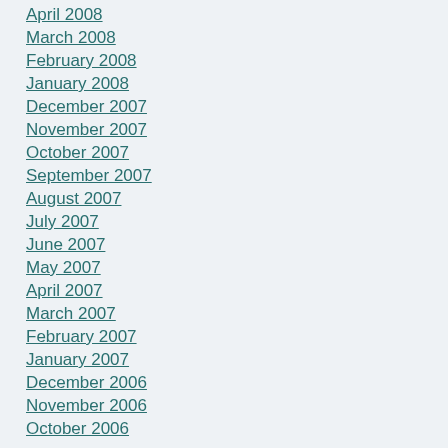April 2008
March 2008
February 2008
January 2008
December 2007
November 2007
October 2007
September 2007
August 2007
July 2007
June 2007
May 2007
April 2007
March 2007
February 2007
January 2007
December 2006
November 2006
October 2006